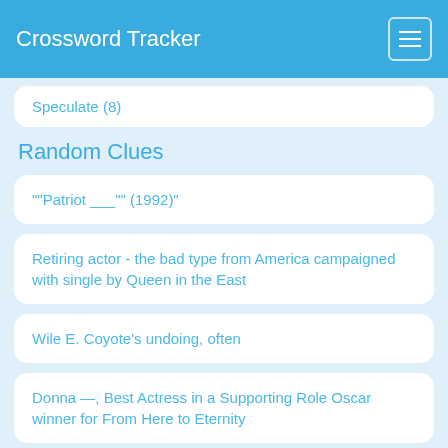Crossword Tracker
Speculate (8)
Random Clues
"""Patriot ___"" (1992)"
Retiring actor - the bad type from America campaigned with single by Queen in the East
Wile E. Coyote's undoing, often
Donna —, Best Actress in a Supporting Role Oscar winner for From Here to Eternity
Lion or tiger, e.g.
One royal on island accepting a question from Middle Easterner